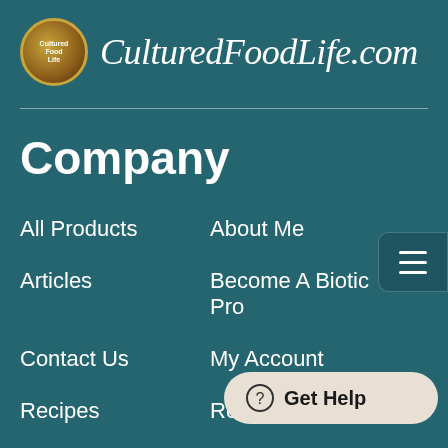[Figure (logo): CulturedFoodLife.com website logo with circular emblem and script text]
Company
All Products
About Me
Articles
Become A Biotic Pro
Contact Us
My Account
Recipes
Return P…
Shipping Policy
Subscribe